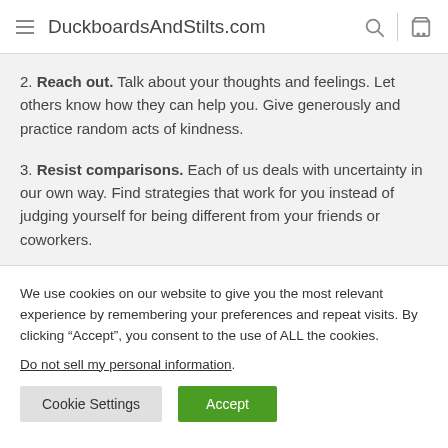DuckboardsAndStilts.com
2. Reach out. Talk about your thoughts and feelings. Let others know how they can help you. Give generously and practice random acts of kindness.
3. Resist comparisons. Each of us deals with uncertainty in our own way. Find strategies that work for you instead of judging yourself for being different from your friends or coworkers.
We use cookies on our website to give you the most relevant experience by remembering your preferences and repeat visits. By clicking “Accept”, you consent to the use of ALL the cookies.
Do not sell my personal information.